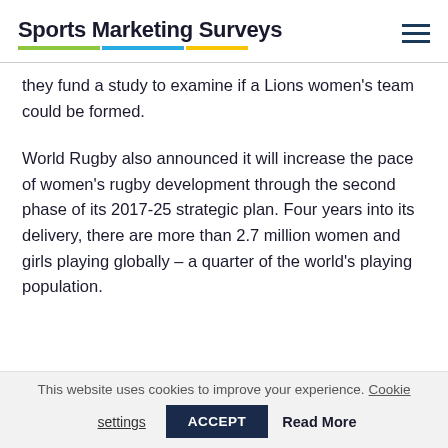Sports Marketing Surveys
they fund a study to examine if a Lions women's team could be formed.
World Rugby also announced it will increase the pace of women's rugby development through the second phase of its 2017-25 strategic plan. Four years into its delivery, there are more than 2.7 million women and girls playing globally – a quarter of the world's playing population.
This website uses cookies to improve your experience. Cookie settings ACCEPT Read More